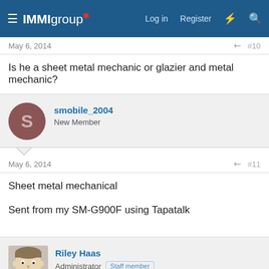IMMIgroup* | Log in | Register
May 6, 2014  #10
Is he a sheet metal mechanic or glazier and metal mechanic?
smobile_2004
New Member
May 6, 2014  #11
Sheet metal mechanical

Sent from my SM-G900F using Tapatalk
Riley Haas
Administrator  Staff member
May 6, 2014  #12